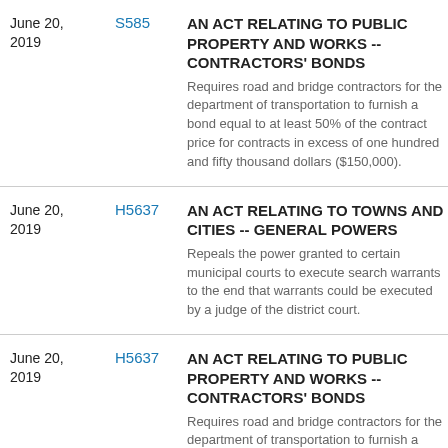June 20, 2019
S585
AN ACT RELATING TO PUBLIC PROPERTY AND WORKS -- CONTRACTORS' BONDS
Requires road and bridge contractors for the department of transportation to furnish a bond equal to at least 50% of the contract price for contracts in excess of one hundred and fifty thousand dollars ($150,000).
June 20, 2019
H5637
AN ACT RELATING TO TOWNS AND CITIES -- GENERAL POWERS
Repeals the power granted to certain municipal courts to execute search warrants to the end that warrants could be executed by a judge of the district court.
June 20, 2019
H5637
AN ACT RELATING TO PUBLIC PROPERTY AND WORKS -- CONTRACTORS' BONDS
Requires road and bridge contractors for the department of transportation to furnish a